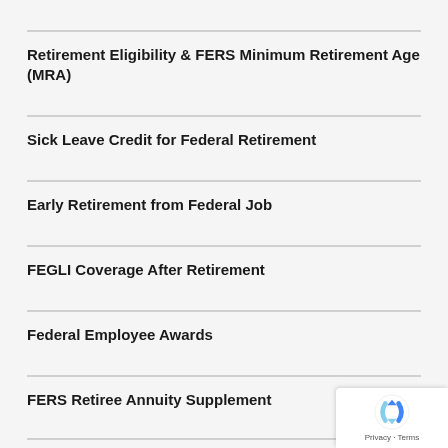Retirement Eligibility & FERS Minimum Retirement Age (MRA)
Sick Leave Credit for Federal Retirement
Early Retirement from Federal Job
FEGLI Coverage After Retirement
Federal Employee Awards
FERS Retiree Annuity Supplement
[Figure (logo): reCAPTCHA badge with Privacy and Terms text]